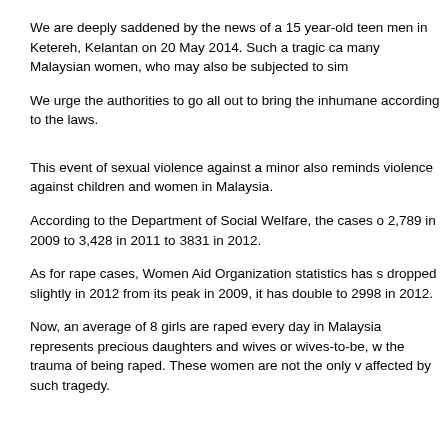We are deeply saddened by the news of a 15 year-old teen men in Ketereh, Kelantan on 20 May 2014. Such a tragic ca many Malaysian women, who may also be subjected to sim
We urge the authorities to go all out to bring the inhumane according to the laws.
This event of sexual violence against a minor also reminds violence against children and women in Malaysia.
According to the Department of Social Welfare, the cases o 2,789 in 2009 to 3,428 in 2011 to 3831 in 2012.
As for rape cases, Women Aid Organization statistics has s dropped slightly in 2012 from its peak in 2009, it has double to 2998 in 2012.
Now, an average of 8 girls are raped every day in Malaysia represents precious daughters and wives or wives-to-be, w the trauma of being raped. These women are not the only v affected by such tragedy.